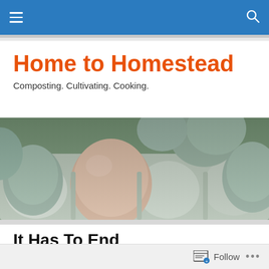Home to Homestead — navigation bar
Home to Homestead
Composting. Cultivating. Cooking.
[Figure (photo): Close-up photo of blue-green and brown eggs arranged in a white egg carton on a woven surface.]
It Has To End
It was cold. And raining. And windy. And they were right to insist I ditch my tennis shoes and pull on an extra pair of
Follow ...